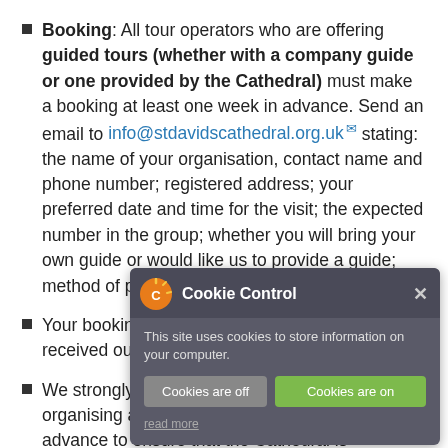Booking: All tour operators who are offering guided tours (whether with a company guide or one provided by the Cathedral) must make a booking at least one week in advance. Send an email to info@stdavidscathedral.org.uk stating: the name of your organisation, contact name and phone number; registered address; your preferred date and time for the visit; the expected number in the group; whether you will bring your own guide or would like us to provide a guide; method of payment (see below).
Your booking is not confirmed until you have received our email confirming the details.
We strongly recommend tour operators who are organising a non-guided tour to check with us in advance to ensure that the Cathedral is